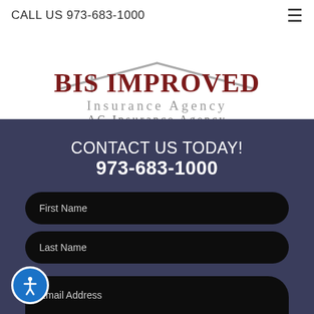CALL US 973-683-1000
[Figure (logo): BIS Improved Insurance Agency / AG Insurance Agency logo with roof graphic]
CONTACT US TODAY! 973-683-1000
First Name
Last Name
Email Address